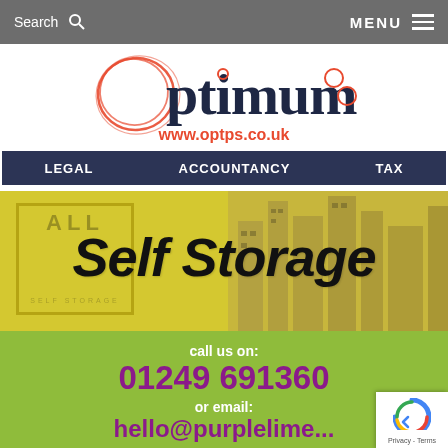Search  MENU
[Figure (logo): Optimum Legal Accountancy Tax logo with red circular scribble and dark blue text, www.optps.co.uk]
[Figure (illustration): All Self Storage advertisement banner with yellow background and large bold italic text reading 'Self Storage']
call us on:
01249 691360
or email:
hello@purplelime.co...